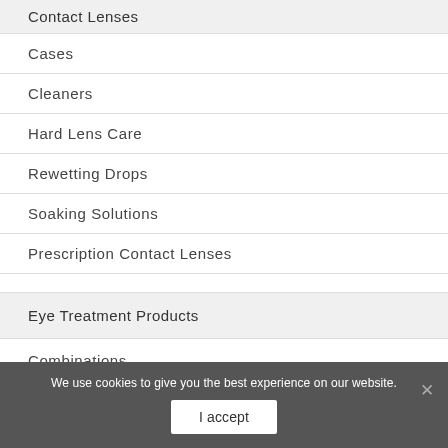Contact Lenses
Cases
Cleaners
Hard Lens Care
Rewetting Drops
Soaking Solutions
Prescription Contact Lenses
Eye Treatment Products
Combinations
We use cookies to give you the best experience on our website.
I accept